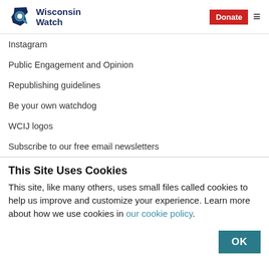Wisconsin Watch — Donate
Instagram
Public Engagement and Opinion
Republishing guidelines
Be your own watchdog
WCIJ logos
Subscribe to our free email newsletters
This Site Uses Cookies
This site, like many others, uses small files called cookies to help us improve and customize your experience. Learn more about how we use cookies in our cookie policy.